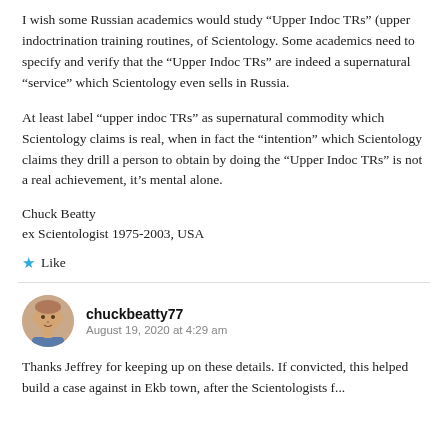I wish some Russian academics would study “Upper Indoc TRs” (upper indoctrination training routines, of Scientology. Some academics need to specify and verify that the “Upper Indoc TRs” are indeed a supernatural “service” which Scientology even sells in Russia.
At least label “upper indoc TRs” as supernatural commodity which Scientology claims is real, when in fact the “intention” which Scientology claims they drill a person to obtain by doing the “Upper Indoc TRs” is not a real achievement, it’s mental alone.
Chuck Beatty
ex Scientologist 1975-2003, USA
★ Like
chuckbeatty77
August 19, 2020 at 4:29 am
Thanks Jeffrey for keeping up on these details. If convicted, this helped build a case against in Ekb town, after the Scientologists f...